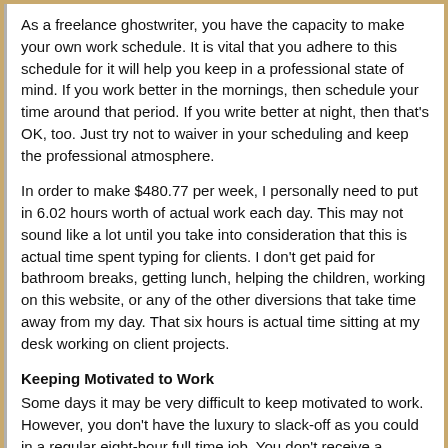As a freelance ghostwriter, you have the capacity to make your own work schedule. It is vital that you adhere to this schedule for it will help you keep in a professional state of mind. If you work better in the mornings, then schedule your time around that period. If you write better at night, then that's OK, too. Just try not to waiver in your scheduling and keep the professional atmosphere.
In order to make $480.77 per week, I personally need to put in 6.02 hours worth of actual work each day. This may not sound like a lot until you take into consideration that this is actual time spent typing for clients. I don't get paid for bathroom breaks, getting lunch, helping the children, working on this website, or any of the other diversions that take time away from my day. That six hours is actual time sitting at my desk working on client projects.
Keeping Motivated to Work
Some days it may be very difficult to keep motivated to work. However, you don't have the luxury to slack-off as you could in a regular eight-hour full time job. You don't receive a paycheck on days you don't feel like working to your potential. For myself, every minute that passes when I am not working on an order is $0.27 that I am missing at the end of the day. Yes, that means I could potentially